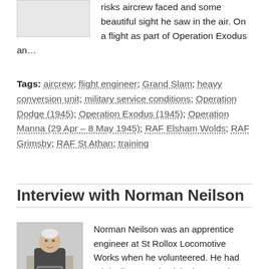risks aircrew faced and some beautiful sight he saw in the air. On a flight as part of Operation Exodus an…
Tags: aircrew; flight engineer; Grand Slam; heavy conversion unit; military service conditions; Operation Dodge (1945); Operation Exodus (1945); Operation Manna (29 Apr – 8 May 1945); RAF Elsham Wolds; RAF Grimsby; RAF St Athan; training
Interview with Norman Neilson
[Figure (photo): Portrait photo of Norman Neilson, an elderly man seated, holding a framed photograph]
Norman Neilson was an apprentice engineer at St Rollox Locomotive Works when he volunteered. He had originally wanted to join the Navy but joined the RAF because the…